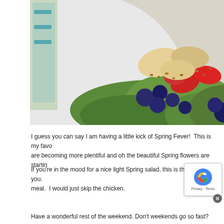[Figure (photo): Close-up photo of a spring salad on a white plate with strawberries, blueberries, green spinach leaves, chicken pieces, and granola/nuts. A blue and white patterned cloth is visible on the left side.]
I guess you can say I am having a little kick of Spring Fever!  This is my favo are becoming more plentiful and oh the beautiful Spring flowers are startin
If you're in the mood for a nice light Spring salad, this is the salad for you. meal.  I would just skip the chicken.
Have a wonderful rest of the weekend.  Don't weekends go so fast?